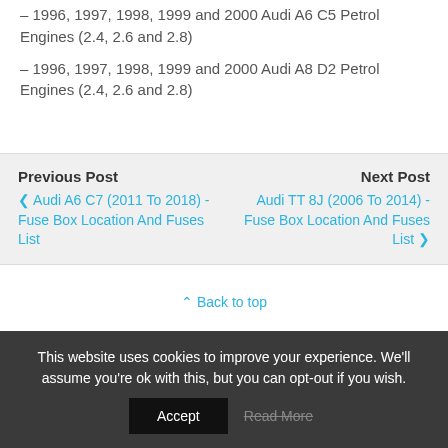– 1996, 1997, 1998, 1999 and 2000 Audi A6 C5 Petrol Engines (2.4, 2.6 and 2.8)
– 1996, 1997, 1998, 1999 and 2000 Audi A8 D2 Petrol Engines (2.4, 2.6 and 2.8)
Previous Post
‹ Audi A6 C7 (2011 To 2018) - Fuse Box Location And Fuses List
Next Post
Audi TT 8J (2006 To 2014) - Fuse Box Location And Fuses List ›
⋀ Back to top
This website uses cookies to improve your experience. We'll assume you're ok with this, but you can opt-out if you wish.
Accept   Read More